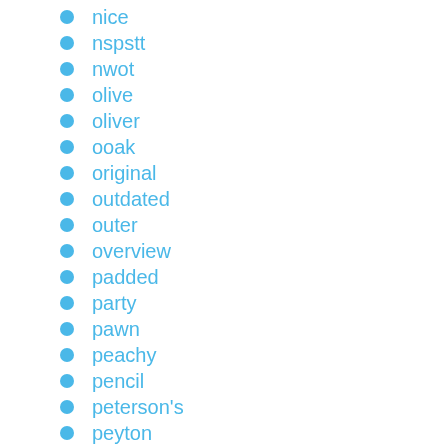nice
nspstt
nwot
olive
oliver
ooak
original
outdated
outer
overview
padded
party
pawn
peachy
pencil
peterson's
peyton
photographic